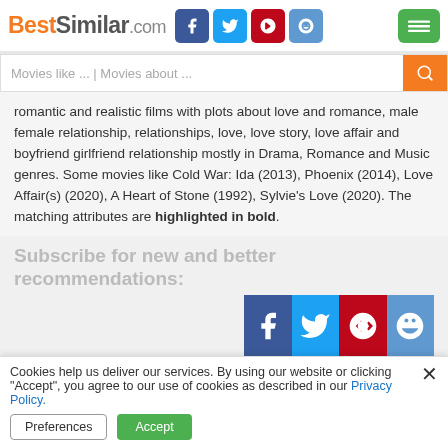BestSimilar.com
Movies like ... | Movies about ...
romantic and realistic films with plots about love and romance, male female relationship, relationships, love, love story, love affair and boyfriend girlfriend relationship mostly in Drama, Romance and Music genres. Some movies like Cold War: Ida (2013), Phoenix (2014), Love Affair(s) (2020), A Heart of Stone (1992), Sylvie's Love (2020). The matching attributes are highlighted in bold.
Subscribe for new and better recommendations:
Ida (2013)
7.4
Cookies help us deliver our services. By using our website or clicking "Accept", you agree to our use of cookies as described in our Privacy Policy.